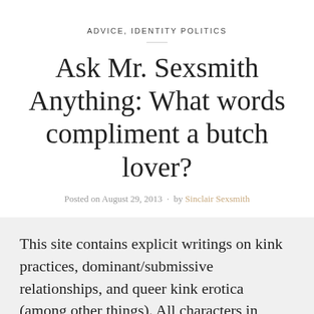ADVICE, IDENTITY POLITICS
Ask Mr. Sexsmith Anything: What words compliment a butch lover?
Posted on August 29, 2013 · by Sinclair Sexsmith
This site contains explicit writings on kink practices, dominant/submissive relationships, and queer kink erotica (among other things). All characters in